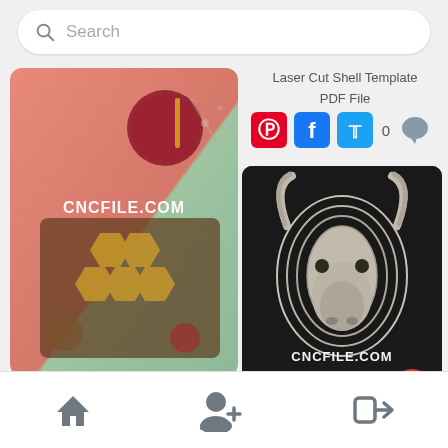Search
[Figure (photo): Laser cut honeycomb wood coasters with fruit decorations on pink-green background, watermarked CNCFILE.COM]
Laser Cut Shell Template PDF File
[Figure (screenshot): Social sharing icons: Pinterest (red), Facebook (blue), Twitter (blue), comment count 0 with speech bubble]
[Figure (photo): Bull head 3D puzzle wall mount on dark background, watermarked CNCFILE.COM]
Cut Wood Coasters Free Vector
Bull Head 3D Puzzle Wall
[Figure (screenshot): Bottom navigation bar with home icon, add person icon, and login arrow icon]